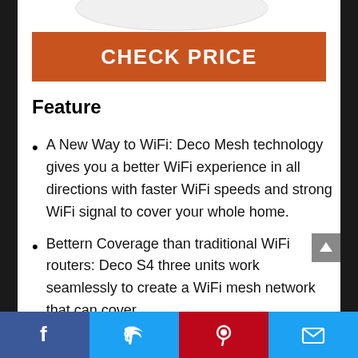[Figure (photo): Bottom portion of a white circular WiFi router/device on white background]
CHECK PRICE
Feature
A New Way to WiFi: Deco Mesh technology gives you a better WiFi experience in all directions with faster WiFi speeds and strong WiFi signal to cover your whole home.
Bettern Coverage than traditional WiFi routers: Deco S4 three units work seamlessly to create a WiFi mesh network that can cover